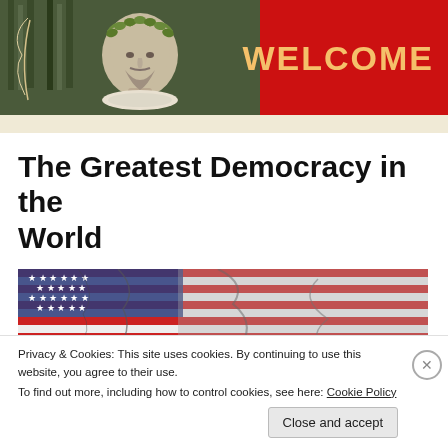[Figure (illustration): Website header banner with red background, a classical illustration of a historical figure with laurel wreath on the left, and the word WELCOME in large gold letters on the right.]
The Greatest Democracy in the World
[Figure (photo): A cracked American flag image showing stars and stripes with a cracked/distressed texture overlay.]
Privacy & Cookies: This site uses cookies. By continuing to use this website, you agree to their use.
To find out more, including how to control cookies, see here: Cookie Policy